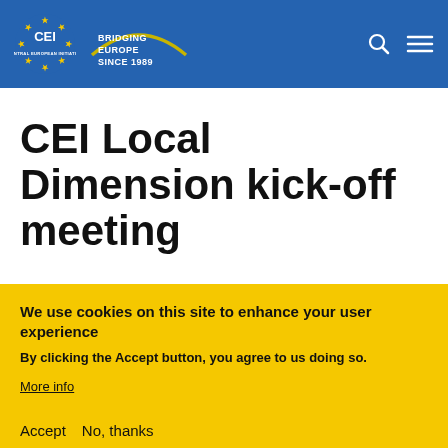[Figure (logo): CEI Central European Initiative logo with circle of gold stars on blue background and 'BRIDGING EUROPE SINCE 1989' text with arc graphic]
CEI Local Dimension kick-off meeting
We use cookies on this site to enhance your user experience
By clicking the Accept button, you agree to us doing so.
More info
Accept   No, thanks